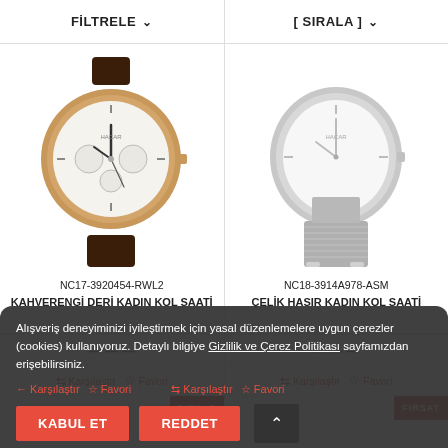FİLTRELE
[SIRALA]
[Figure (photo): Rose gold analog watch with white multi-subdial face, brown leather strap, brand HACAR]
[Figure (photo): Silver analog watch with white simple face, silver mesh bracelet strap, brand HACAR]
NC17-3920454-RWL2
KAHVERENGİ DERİ KADIN KOL SAATİ
NC18-3914A978-ASM
ÇELİK HASIR KADIN KOL SAATİ
Alışveriş deneyiminizi iyileştirmek için yasal düzenlemelere uygun çerezler (cookies) kullanıyoruz. Detaylı bilgiye Gizlilik ve Çerez Politikası sayfamızdan erişebilirsiniz.
KABUL ET
REDDET